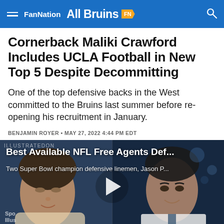FanNation  All Bruins
Cornerback Maliki Crawford Includes UCLA Football in New Top 5 Despite Decommitting
One of the top defensive backs in the West committed to the Bruins last summer before re-opening his recruitment in January.
BENJAMIN ROYER • MAY 27, 2022 4:44 PM EDT
[Figure (screenshot): Video thumbnail showing two people side by side with overlay text: 'Best Available NFL Free Agents Def...' and subtitle 'Two Super Bowl champion defensive linemen, Jason P...' with a play button in the center. Sports Illustrated logo visible top left.]